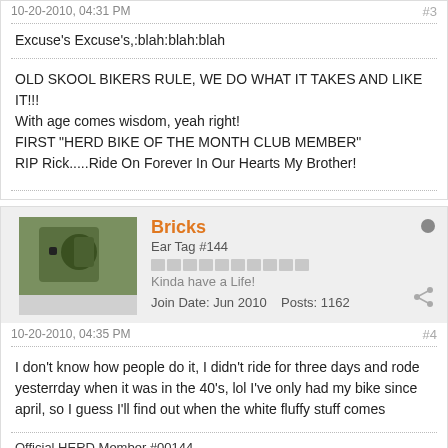10-20-2010, 04:31 PM | #3
Excuse's Excuse's,:blah:blah:blah
OLD SKOOL BIKERS RULE, WE DO WHAT IT TAKES AND LIKE IT!!!
With age comes wisdom, yeah right!
FIRST "HERD BIKE OF THE MONTH CLUB MEMBER"
RIP Rick.....Ride On Forever In Our Hearts My Brother!
Bricks
Ear Tag #144
Kinda have a Life!
Join Date: Jun 2010    Posts: 1162
10-20-2010, 04:35 PM | #4
I don't know how people do it, I didn't ride for three days and rode yesterrday when it was in the 40's, lol I've only had my bike since april, so I guess I'll find out when the white fluffy stuff comes
Official HERD Member #00144
[Figure (illustration): Cartoon illustration of a blue animated creature/octopus character at the bottom of the page]